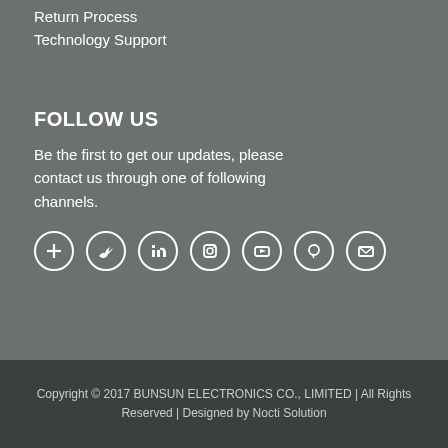Return Process
Technology Support
FOLLOW US
Be the first to get our updates, please contact us through one of following channels.
[Figure (other): Row of 7 social media icons (circles with symbols) for following the company on various social channels]
Copyright © 2017 BUNSUN ELECTRONICS CO., LIMITED | All Rights Reserved | Designed by Nocti Solution